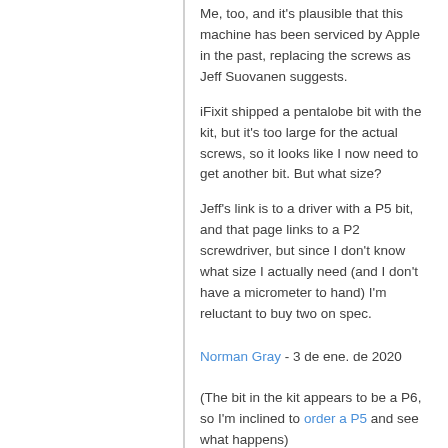Me, too, and it's plausible that this machine has been serviced by Apple in the past, replacing the screws as Jeff Suovanen suggests.
iFixit shipped a pentalobe bit with the kit, but it's too large for the actual screws, so it looks like I now need to get another bit. But what size?
Jeff's link is to a driver with a P5 bit, and that page links to a P2 screwdriver, but since I don't know what size I actually need (and I don't have a micrometer to hand) I'm reluctant to buy two on spec.
Norman Gray - 3 de ene. de 2020
(The bit in the kit appears to be a P6, so I'm inclined to order a P5 and see what happens)
Norman Gray - 3 de ene. de 2020
You're using the wrong repair guide. This guide is for the 2012 NON-Retina MBP. You have a Retina MBP. The stock case screws in the 2012